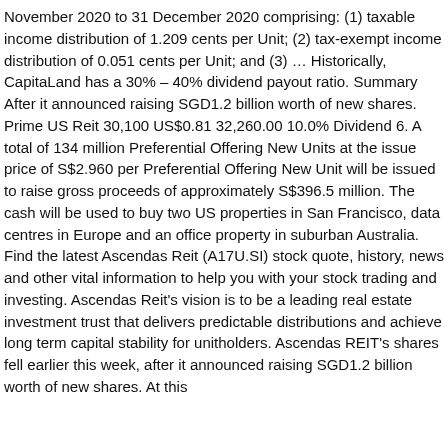November 2020 to 31 December 2020 comprising: (1) taxable income distribution of 1.209 cents per Unit; (2) tax-exempt income distribution of 0.051 cents per Unit; and (3) … Historically, CapitaLand has a 30% – 40% dividend payout ratio. Summary After it announced raising SGD1.2 billion worth of new shares. Prime US Reit 30,100 US$0.81 32,260.00 10.0% Dividend 6. A total of 134 million Preferential Offering New Units at the issue price of S$2.960 per Preferential Offering New Unit will be issued to raise gross proceeds of approximately S$396.5 million. The cash will be used to buy two US properties in San Francisco, data centres in Europe and an office property in suburban Australia. Find the latest Ascendas Reit (A17U.SI) stock quote, history, news and other vital information to help you with your stock trading and investing. Ascendas Reit's vision is to be a leading real estate investment trust that delivers predictable distributions and achieve long term capital stability for unitholders. Ascendas REIT's shares fell earlier this week, after it announced raising SGD1.2 billion worth of new shares. At this